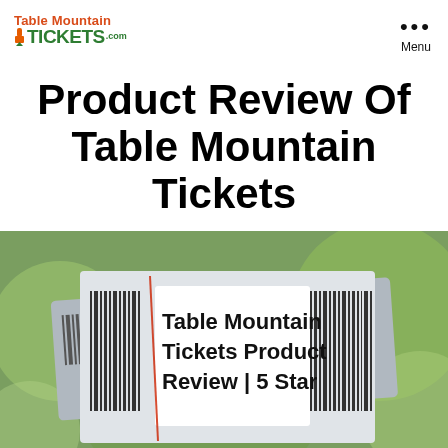Table Mountain TICKETS.com
Product Review Of Table Mountain Tickets
[Figure (photo): Photo of a Table Mountain Tickets barcode ticket with text 'Table Mountain Tickets Product Review | 5 Star' overlaid on a white label, with green bokeh background]